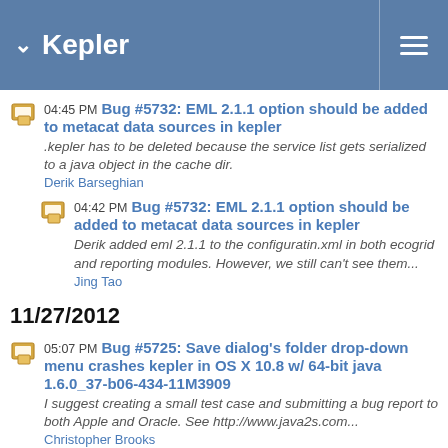Kepler
04:45 PM Bug #5732: EML 2.1.1 option should be added to metacat data sources in kepler — .kepler has to be deleted because the service list gets serialized to a java object in the cache dir. Derik Barseghian
04:42 PM Bug #5732: EML 2.1.1 option should be added to metacat data sources in kepler — Derik added eml 2.1.1 to the configuratin.xml in both ecogrid and reporting modules. However, we still can't see them... Jing Tao
11/27/2012
05:07 PM Bug #5725: Save dialog's folder drop-down menu crashes kepler in OS X 10.8 w/ 64-bit java 1.6.0_37-b06-434-11M3909 — I suggest creating a small test case and submitting a bug report to both Apple and Oracle. See http://www.java2s.com... Christopher Brooks
04:51 PM Bug #5727: saving workflow changes canvas center — There are some similar issues in vergil, so I'll take this bug, fix vergil and then reassign it to Derik after I fix...